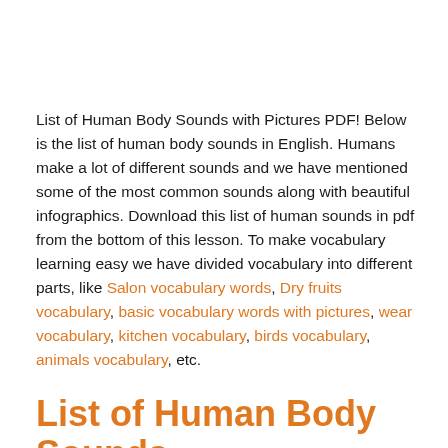List of Human Body Sounds with Pictures PDF! Below is the list of human body sounds in English. Humans make a lot of different sounds and we have mentioned some of the most common sounds along with beautiful infographics. Download this list of human sounds in pdf from the bottom of this lesson. To make vocabulary learning easy we have divided vocabulary into different parts, like Salon vocabulary words, Dry fruits vocabulary, basic vocabulary words with pictures, wear vocabulary, kitchen vocabulary, birds vocabulary, animals vocabulary, etc.
List of Human Body Sounds